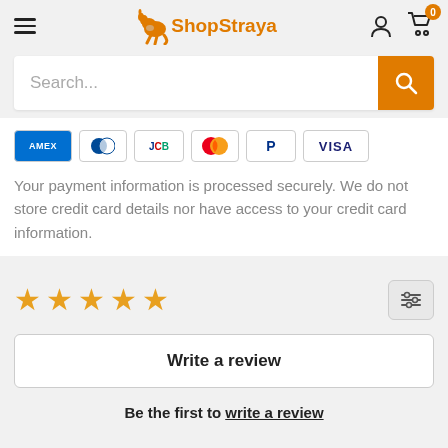ShopStraya — navigation header with hamburger menu, logo, user icon, and cart (0 items)
[Figure (screenshot): Search bar with placeholder text 'Search...' and orange search button]
[Figure (infographic): Payment method icons: AMEX, Diners Club, JCB, Mastercard, PayPal, VISA]
Your payment information is processed securely. We do not store credit card details nor have access to your credit card information.
[Figure (infographic): 5 empty gold star rating icons and a filter/sort button]
[Figure (screenshot): Write a review button]
Be the first to write a review